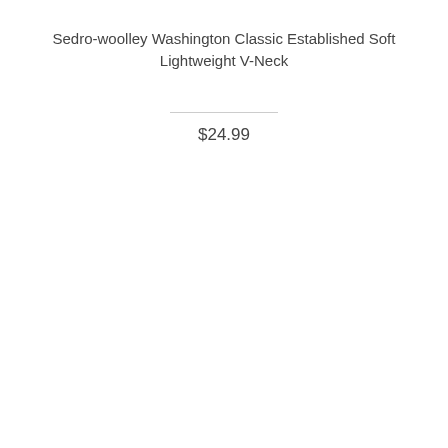Sedro-woolley Washington Classic Established Soft Lightweight V-Neck
$24.99